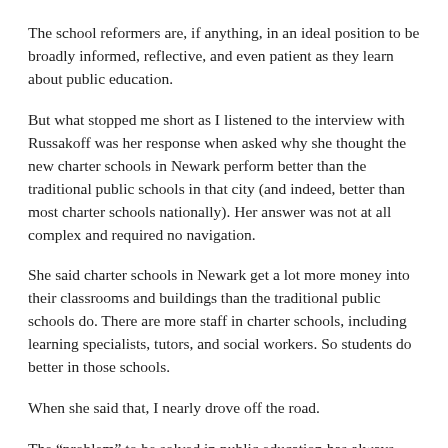The school reformers are, if anything, in an ideal position to be broadly informed, reflective, and even patient as they learn about public education.
But what stopped me short as I listened to the interview with Russakoff was her response when asked why she thought the new charter schools in Newark perform better than the traditional public schools in that city (and indeed, better than most charter schools nationally). Her answer was not at all complex and required no navigation.
She said charter schools in Newark get a lot more money into their classrooms and buildings than the traditional public schools do. There are more staff in charter schools, including learning specialists, tutors, and social workers. So students do better in those schools.
When she said that, I nearly drove off the road.
The “problem” to be solved in public education has always been about resources, no matter what words are put around it, no matter what layers of complexity are added. This has been clear since